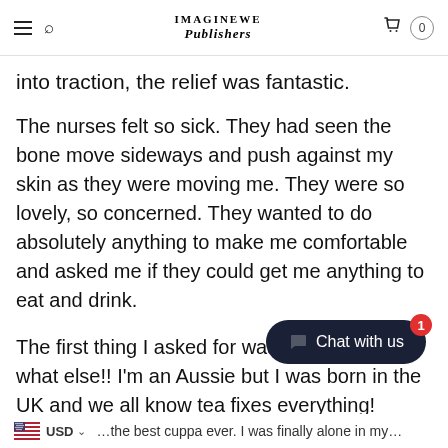IMAGINEWE Publishers — navigation bar with hamburger, search, logo, cart (0)
into traction, the relief was fantastic.
The nurses felt so sick. They had seen the bone move sideways and push against my skin as they were moving me. They were so lovely, so concerned. They wanted to do absolutely anything to make me comfortable and asked me if they could get me anything to eat and drink.
The first thing I asked for was a cup of tea…what else!! I'm an Aussie but I was born in the UK and we all know tea fixes everything!
Tea Makes Everythi…
USD ∨  …the best cuppa ever. I was finally alone in my…